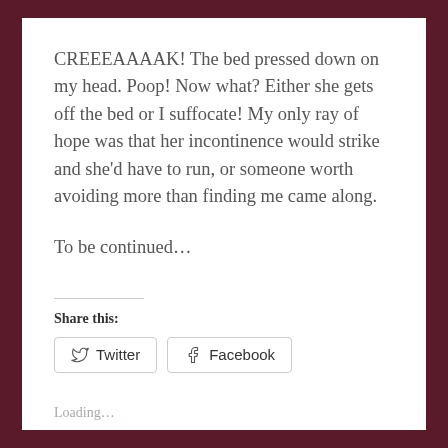CREEEAAAAK! The bed pressed down on my head. Poop! Now what? Either she gets off the bed or I suffocate! My only ray of hope was that her incontinence would strike and she’d have to run, or someone worth avoiding more than finding me came along.
To be continued…
Share this:
Twitter
Facebook
Loading…